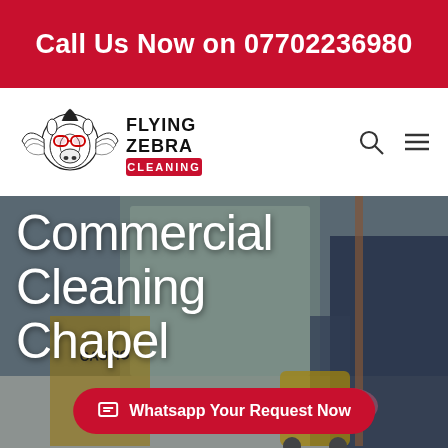Call Us Now on 07702236980
[Figure (logo): Flying Zebra Cleaning logo — cartoon zebra with wings and red glasses, company name FLYING ZEBRA CLEANING in bold text with red banner]
Commercial Cleaning Chapel
Whatsapp Your Request Now